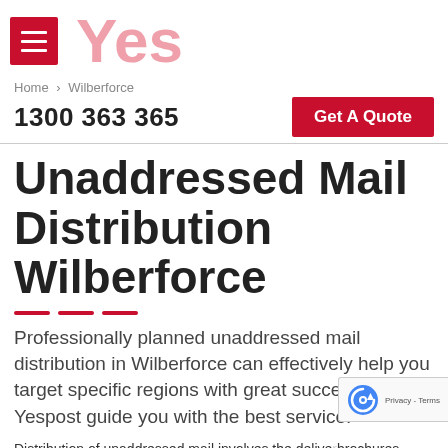Yes
Home › Wilberforce
1300 363 365
Get A Quote
Unaddressed Mail Distribution Wilberforce
Professionally planned unaddressed mail distribution in Wilberforce can effectively help you target specific regions with great success. Let Yespost guide you with the best service.
Distribution of unaddressed mail involves the delivery of brochures, leaflets, flyers, catalogues, and such other promotional materials which does not require a delivery address to be distributed.